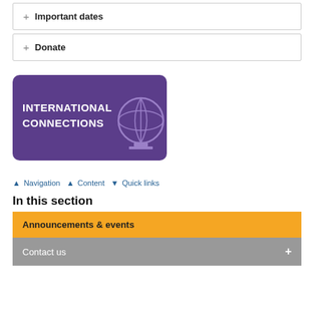+ Important dates
+ Donate
[Figure (illustration): Purple rounded rectangle banner with globe icon and white text reading INTERNATIONAL CONNECTIONS]
▲ Navigation  ▲ Content  ▼ Quick links
In this section
Announcements & events
Contact us  +